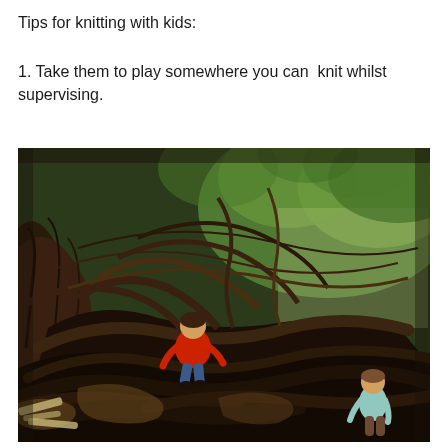Tips for knitting with kids:
1. Take them to play somewhere you can  knit whilst supervising.
[Figure (photo): Two children playing among the large exposed roots and branches of a massive old tree in a forest setting. One child in a red shirt and jeans crouches on the roots in the middle, while another child in light blue stands at the lower right. The scene is dark and atmospheric with tangled brown roots and green foliage in the background.]